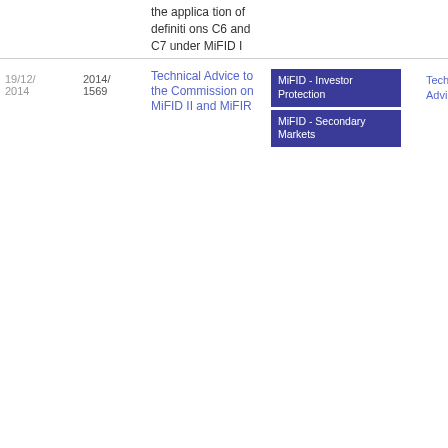| Date | Reference | Title | Tags | Description | Download |
| --- | --- | --- | --- | --- | --- |
|  |  | the application of definitions C6 and C7 under MiFID I |  |  |  |
| 19/12/2014 | 2014/1569 | Technical Advice to the Commission on MiFID II and MiFIR | MiFID - Investor Protection
MiFID - Secondary Markets | Technical Advice | PDF 2.8 MB |